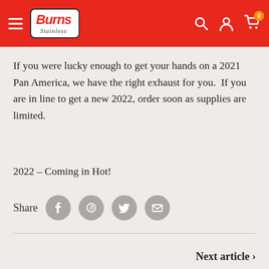Burns Stainless — Navigation header with logo, search, account, and cart icons
If you were lucky enough to get your hands on a 2021 Pan America, we have the right exhaust for you.  If you are in line to get a new 2022, order soon as supplies are limited.
2022 – Coming in Hot!
Share
Next article